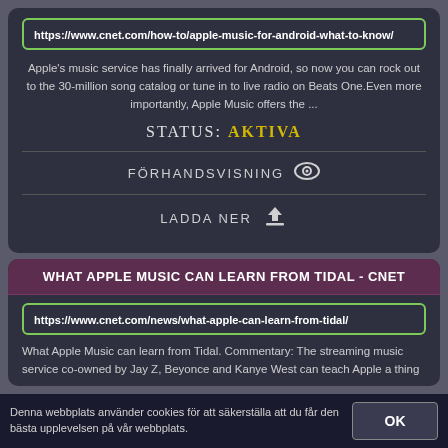https://www.cnet.com/how-to/apple-music-for-android-what-to-know/
Apple's music service has finally arrived for Android, so now you can rock out to the 30-million song catalog or tune in to live radio on Beats One.Even more importantly, Apple Music offers the ...
STATUS: AKTIVA
FÖRHANDSVISNING
LADDA NER
WHAT APPLE MUSIC CAN LEARN FROM TIDAL - CNET
https://www.cnet.com/news/what-apple-can-learn-from-tidal/
What Apple Music can learn from Tidal. Commentary: The streaming music service co-owned by Jay Z, Beyonce and Kanye West can teach Apple a thing
Denna webbplats använder cookies för att säkerställa att du får den bästa upplevelsen på vår webbplats.